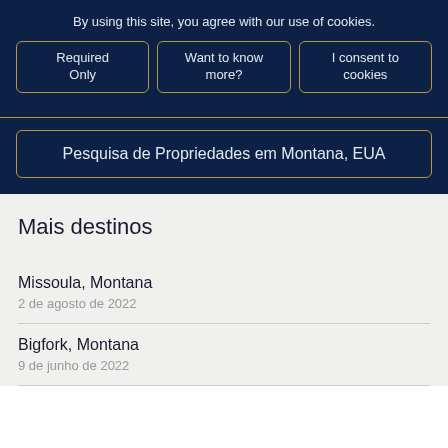By using this site, you agree with our use of cookies.
Required Only
Want to know more?
I consent to cookies
Pesquisa de Propriedades em Montana, EUA
Mais destinos
Missoula, Montana
2 de agosto de 2022
Bigfork, Montana
9 de junho de 2022